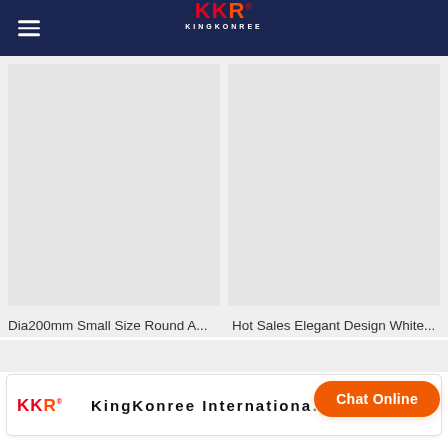[Figure (logo): KKR KINGKONREE logo on dark navy header navigation bar with hamburger menu icon]
[Figure (photo): Two product listing image placeholders side by side on light gray background]
Dia200mm Small Size Round A...
Hot Sales Elegant Design White...
[Figure (logo): KKR small logo]
KingKonree Internationa...ur
Chat Online